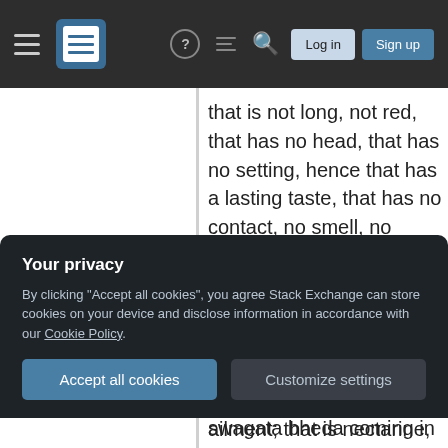Navigation bar with hamburger menu, logo, help, chat, search icons, Log in and Sign up buttons
that is not long, not red, that has no head, that has no setting, hence that has a lasting taste, that has no contact, no smell, no juice, no eyes, no ears, neither speech nor mind, no brilliance, no proof [or magnitude], no (worldly) happiness, no name, no race, no death, no age, no ailment; that is nectarine, that is expressed by the word Om, that is immortal, that has neither a predecessor nor a successor, that is endless and non-external. It eats
Your privacy
By clicking "Accept all cookies", you agree Stack Exchange can store cookies on your device and disclose information in accordance with our Cookie Policy.
Accept all cookies
Customize settings
described. So where is swagata bheda coming in